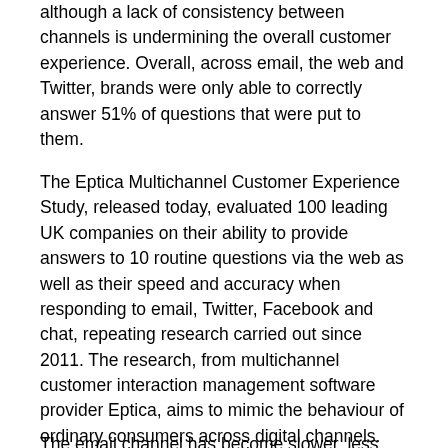although a lack of consistency between channels is undermining the overall customer experience. Overall, across email, the web and Twitter, brands were only able to correctly answer 51% of questions that were put to them.
The Eptica Multichannel Customer Experience Study, released today, evaluated 100 leading UK companies on their ability to provide answers to 10 routine questions via the web as well as their speed and accuracy when responding to email, Twitter, Facebook and chat, repeating research carried out since 2011. The research, from multichannel customer interaction management software provider Eptica, aims to mimic the behaviour of ordinary consumers across digital channels.
The email channel has become slower, less accurate and